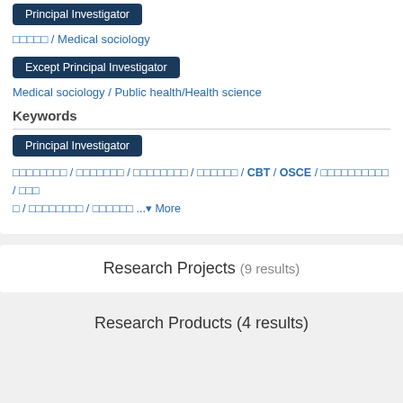Principal Investigator
□□□□□ / Medical sociology
Except Principal Investigator
Medical sociology / Public health/Health science
Keywords
Principal Investigator
□□□□□□□□ / □□□□□□□ / □□□□□□□□ / □□□□□□ / CBT / OSCE / □□□□□□□□□□ / □□□□ / □□□□□□□□ / □□□□□□ ... More
Research Projects (9 results)
Research Products (4 results)